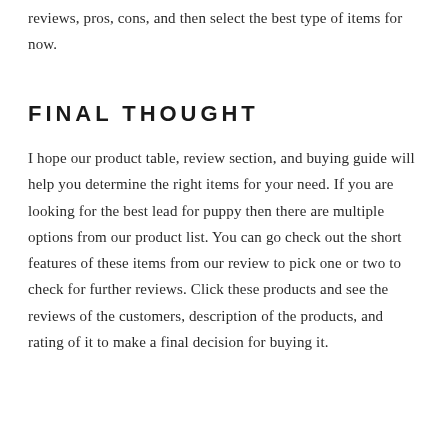reviews, pros, cons, and then select the best type of items for now.
FINAL THOUGHT
I hope our product table, review section, and buying guide will help you determine the right items for your need. If you are looking for the best lead for puppy then there are multiple options from our product list. You can go check out the short features of these items from our review to pick one or two to check for further reviews. Click these products and see the reviews of the customers, description of the products, and rating of it to make a final decision for buying it.